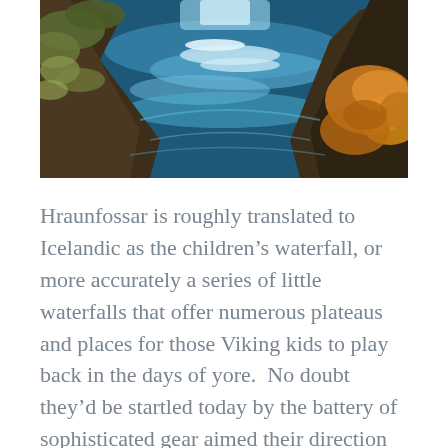[Figure (photo): Aerial or close-up view of a rushing blue river or waterfall flowing between rocky, moss- and vegetation-covered cliffs, with autumn-colored foliage visible on the right bank.]
Hraunfossar is roughly translated to Icelandic as the children's waterfall, or more accurately a series of little waterfalls that offer numerous plateaus and places for those Viking kids to play back in the days of yore.  No doubt they'd be startled today by the battery of sophisticated gear aimed their direction from across the river. The water here veers from outright